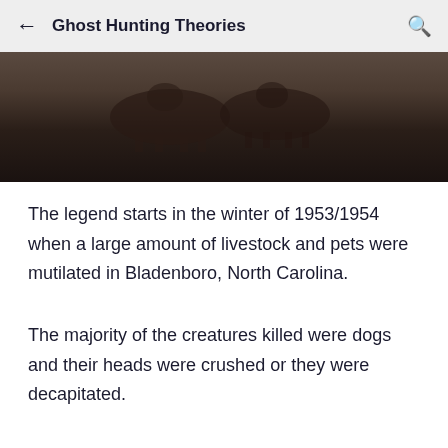Ghost Hunting Theories
[Figure (photo): Dark sepia-toned photograph showing animal silhouettes, likely livestock or large animals, against a dark background]
The legend starts in the winter of 1953/1954 when a large amount of livestock and pets were mutilated in Bladenboro, North Carolina.
The majority of the creatures killed were dogs and their heads were crushed or they were decapitated.